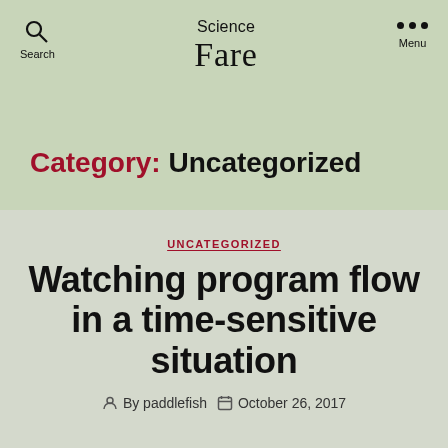Science Fare
Category: Uncategorized
UNCATEGORIZED
Watching program flow in a time-sensitive situation
By paddlefish  October 26, 2017